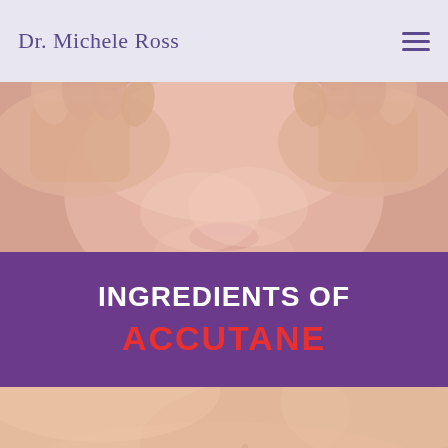Dr. Michele Ross
[Figure (photo): Close-up photo of a woman's face being touched by hands, showing facial skin and a slight smile, with soft lighting]
INGREDIENTS OF ACCUTANE
[Figure (photo): Close-up photo of smooth skin texture, peach/tan toned, showing skin surface detail]